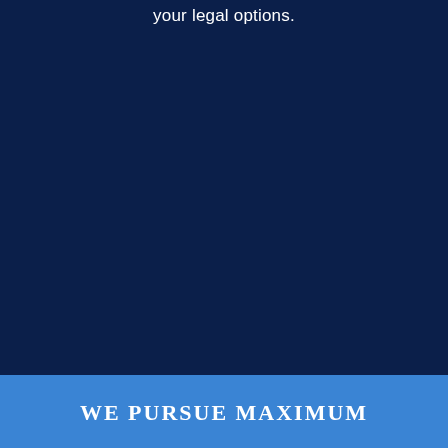your legal options.
WE PURSUE MAXIMUM